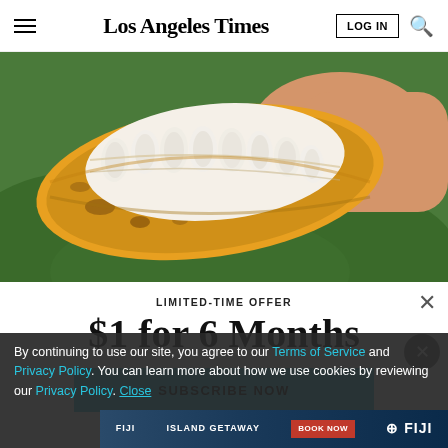Los Angeles Times
[Figure (photo): A hand holding an open yellow cacao pod revealing white cacao seeds/beans inside, with green leaves in the background.]
LIMITED-TIME OFFER
$1 for 6 Months
SUBSCRIBE NOW
By continuing to use our site, you agree to our Terms of Service and Privacy Policy. You can learn more about how we use cookies by reviewing our Privacy Policy. Close